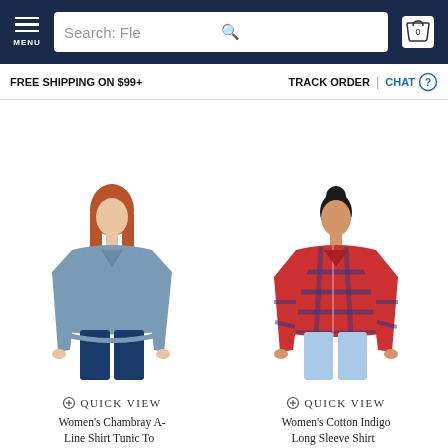MENU | Search: Fle | 0 (cart)
FREE SHIPPING ON $99+    TRACK ORDER  |  CHAT
[Figure (photo): Woman wearing blue chambray long-sleeve tunic top with dark jeans]
QUICK VIEW
Women's Chambray A-Line Shirt Tunic Top
[Figure (photo): Woman wearing red plaid long-sleeve flannel shirt with light jeans]
QUICK VIEW
Women's Cotton Indigo Long Sleeve Shirt